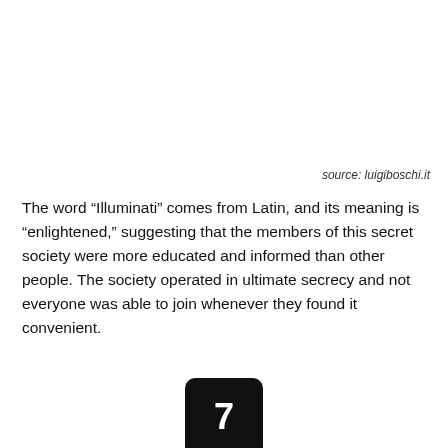source: luigiboschi.it
The word “Illuminati” comes from Latin, and its meaning is “enlightened,” suggesting that the members of this secret society were more educated and informed than other people. The society operated in ultimate secrecy and not everyone was able to join whenever they found it convenient.
7
Adam Weishaupt